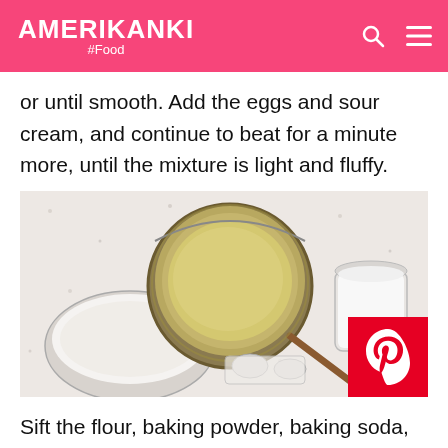AMERIKANKI #Food
or until smooth. Add the eggs and sour cream, and continue to beat for a minute more, until the mixture is light and fluffy.
[Figure (photo): Overhead flat-lay of baking ingredients on a speckled white surface: a large round sieve/strainer with yellowish batter, a bowl of white flour on the left, a glass of milk on the right, and small bowls/spoons with dry ingredients in the center. A Pinterest badge appears in the bottom-right corner.]
Sift the flour, baking powder, baking soda, and salt into the bowl. Beat the mixture on low until the